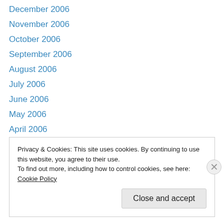December 2006
November 2006
October 2006
September 2006
August 2006
July 2006
June 2006
May 2006
April 2006
March 2006
February 2006
January 2006
Privacy & Cookies: This site uses cookies. By continuing to use this website, you agree to their use.
To find out more, including how to control cookies, see here: Cookie Policy
Close and accept